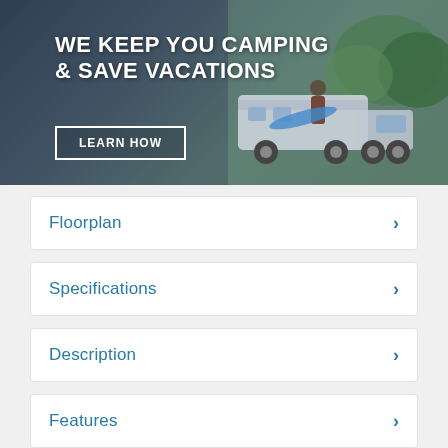[Figure (photo): Banner image of a person loading gear onto an RV/camper outdoors, with trees in background. White bold text overlaid: 'WE KEEP YOU CAMPING & SAVE VACATIONS' with a 'LEARN HOW' button.]
Floorplan
Specifications
Description
Features
Factory Brochure